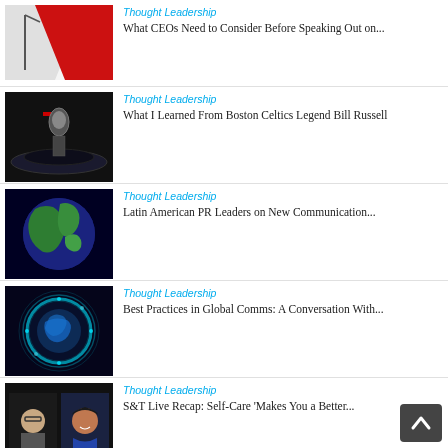Thought Leadership — What CEOs Need to Consider Before Speaking Out on...
Thought Leadership — What I Learned From Boston Celtics Legend Bill Russell
Thought Leadership — Latin American PR Leaders on New Communication...
Thought Leadership — Best Practices in Global Comms: A Conversation With...
Thought Leadership — S&T Live Recap: Self-Care 'Makes You a Better...